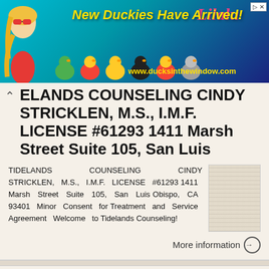[Figure (illustration): Banner advertisement for Lilalu rubber ducks: 'New Duckies Have Arrived!' with colorful rubber duck characters, Lilalu logo, and website www.ducksinthewindow.com]
ELANDS COUNSELING CINDY STRICKLEN, M.S., I.M.F. LICENSE #61293 1411 Marsh Street Suite 105, San Luis
TIDELANDS COUNSELING CINDY STRICKLEN, M.S., I.M.F. LICENSE #61293 1411 Marsh Street Suite 105, San Luis Obispo, CA 93401 Minor Consent for Treatment and Service Agreement Welcome to Tidelands Counseling!
More information →
Life Tide Counseling, PC Individual, Marriage and Family Counseling
Life Tide Counseling, PC Individual, Marriage and Family Counseling OUTPATIENT